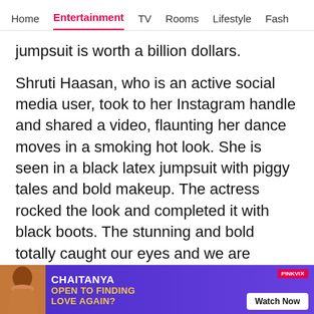Home | Entertainment | TV | Rooms | Lifestyle | Fash
jumpsuit is worth a billion dollars.
Shruti Haasan, who is an active social media user, took to her Instagram handle and shared a video, flaunting her dance moves in a smoking hot look. She is seen in a black latex jumpsuit with piggy tales and bold makeup. The actress rocked the look and completed it with black boots. The stunning and bold totally caught our eyes and we are awestruck how she manages to stand out uniquely best with every look.
[Figure (other): Social media share icons: WhatsApp (green), Facebook (blue), Twitter (cyan), Chat/comment (pink/red)]
[Figure (other): Advertisement banner for Chaitanya - Open to Finding Love Again? with Watch Now button, Pinkvilla branding]